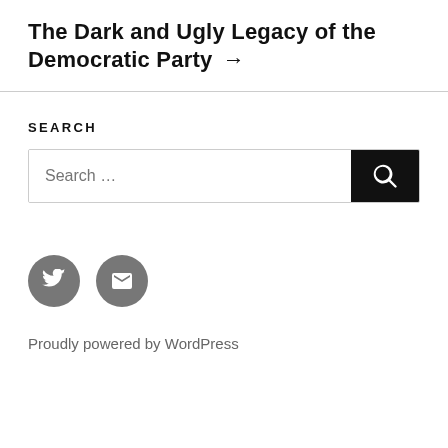The Dark and Ugly Legacy of the Democratic Party →
SEARCH
Search …
Proudly powered by WordPress